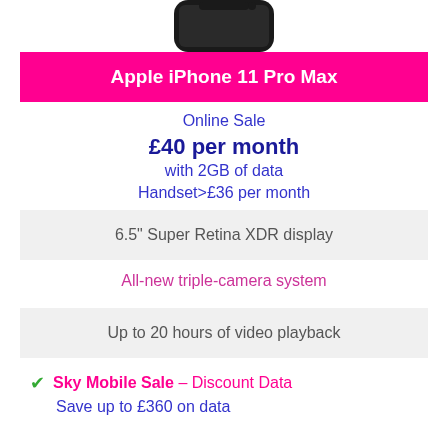[Figure (photo): Partial top view of Apple iPhone 11 Pro Max device]
Apple iPhone 11 Pro Max
Online Sale
£40 per month
with 2GB of data
Handset only = £36 per month
6.5" Super Retina XDR display
All-new triple-camera system
Up to 20 hours of video playback
Sky Mobile Sale – Discount Data
Save up to £360 on data